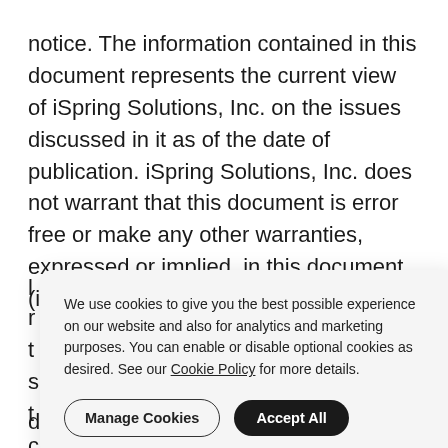notice. The information contained in this document represents the current view of iSpring Solutions, Inc. on the issues discussed in it as of the date of publication. iSpring Solutions, Inc. does not warrant that this document is error free or make any other warranties, expressed or implied, in this document (including, without
We use cookies to give you the best possible experience on our website and also for analytics and marketing purposes. You can enable or disable optional cookies as desired. See our Cookie Policy for more details.
document.